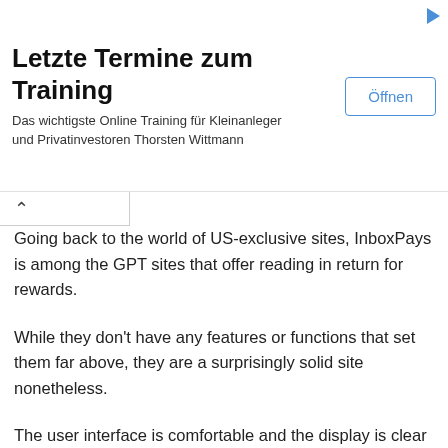[Figure (other): Advertisement banner: 'Letzte Termine zum Training' with subtitle 'Das wichtigste Online Training für Kleinanleger und Privatinvestoren Thorsten Wittmann' and an 'Öffnen' button]
Going back to the world of US-exclusive sites, InboxPays is among the GPT sites that offer reading in return for rewards.
While they don't have any features or functions that set them far above, they are a surprisingly solid site nonetheless.
The user interface is comfortable and the display is clear and easy to navigate.
In the realm of GPT, good site design isn't always a given; so I'm happy to give this one the thumbs-up for its layout.
There is a $50 minimum requirement for cashing out of which up